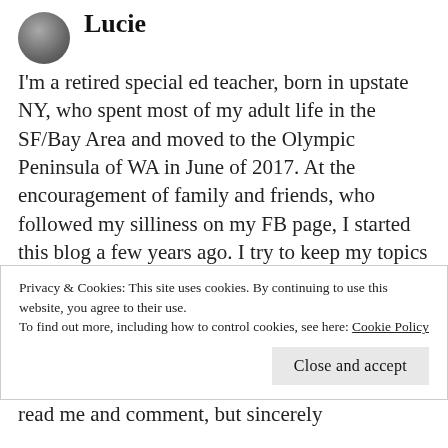[Figure (photo): Small circular avatar photo of a person, appearing as a profile picture thumbnail]
Lucie
I'm a retired special ed teacher, born in upstate NY, who spent most of my adult life in the SF/Bay Area and moved to the Olympic Peninsula of WA in June of 2017. At the encouragement of family and friends, who followed my silliness on my FB page, I started this blog a few years ago. I try to keep my topics as humorous as possible (because I believe "LIFE" is pretty serious these days), but will, on occasion write about more solemn subjects. I sincerely appreciate
Privacy & Cookies: This site uses cookies. By continuing to use this website, you agree to their use.
To find out more, including how to control cookies, see here: Cookie Policy
Close and accept
read me and comment, but sincerely